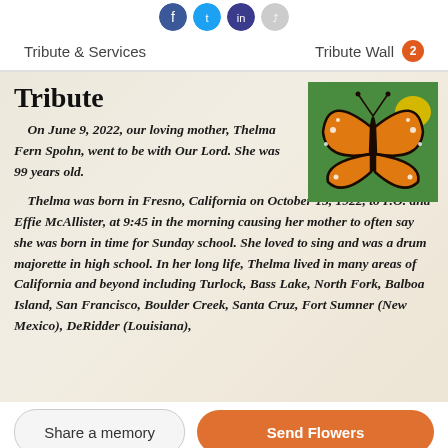[Figure (other): Social media share icons: Facebook (dark blue), Twitter (light blue), another social icon (dark blue/purple), and a grey share icon]
Tribute & Services    Tribute Wall 2
Tribute
[Figure (photo): A monarch butterfly with orange and black wings, resting on green leaves with a yellow flower in the background]
On June 9, 2022, our loving mother, Thelma Fern Spohn, went to be with Our Lord. She was 99 years old.
Thelma was born in Fresno, California on October 15, 1922, to P.O. and Effie McAllister, at 9:45 in the morning causing her mother to often say she was born in time for Sunday school. She loved to sing and was a drum majorette in high school. In her long life, Thelma lived in many areas of California and beyond including Turlock, Bass Lake, North Fork, Balboa Island, San Francisco, Boulder Creek, Santa Cruz, Fort Sumner (New Mexico), DeRidder (Louisiana),
Share a memory
Send Flowers